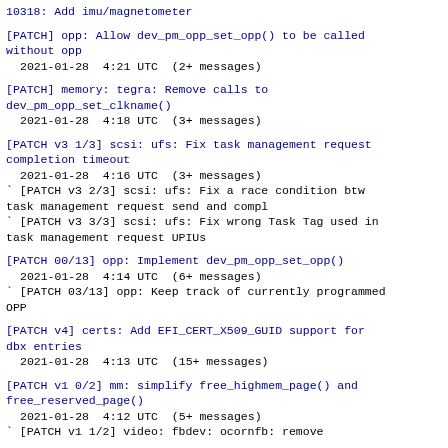10318: Add imu/magnetometer
[PATCH] opp: Allow dev_pm_opp_set_opp() to be called without opp
 2021-01-28  4:21 UTC  (2+ messages)
[PATCH] memory: tegra: Remove calls to dev_pm_opp_set_clkname()
 2021-01-28  4:18 UTC  (3+ messages)
[PATCH v3 1/3] scsi: ufs: Fix task management request completion timeout
 2021-01-28  4:16 UTC  (3+ messages)
` [PATCH v3 2/3] scsi: ufs: Fix a race condition btw task management request send and compl
` [PATCH v3 3/3] scsi: ufs: Fix wrong Task Tag used in task management request UPIUs
[PATCH 00/13] opp: Implement dev_pm_opp_set_opp()
 2021-01-28  4:14 UTC  (6+ messages)
` [PATCH 03/13] opp: Keep track of currently programmed OPP
[PATCH v4] certs: Add EFI_CERT_X509_GUID support for dbx entries
 2021-01-28  4:13 UTC  (15+ messages)
[PATCH v1 0/2] mm: simplify free_highmem_page() and free_reserved_page()
 2021-01-28  4:12 UTC  (5+ messages)
` [PATCH v1 1/2] video: fbdev: ocornfb: remove